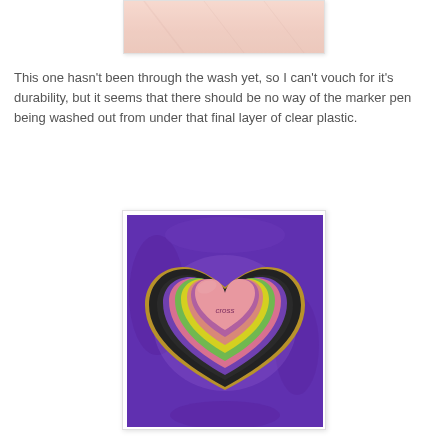[Figure (photo): Partial view of a fabric or skin surface, pinkish-peach tone, top of page cropped image]
This one hasn't been through the wash yet, so I can't vouch for it's durability, but it seems that there should be no way of the marker pen being washed out from under that final layer of clear plastic.
[Figure (photo): A decorated heart-shaped craft item with colorful layered rainbow pattern drawn in marker pens, set on a purple fabric background]